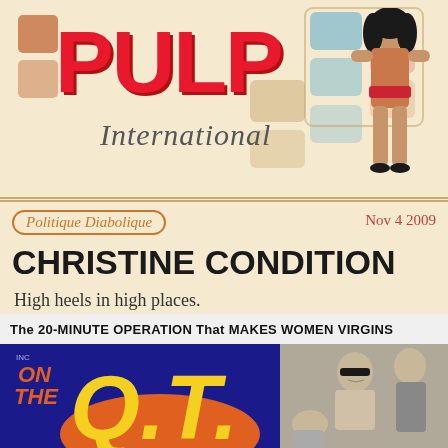[Figure (illustration): Pulp International website header banner with colorful geometric rectangle decorations, large red PULP text with italic International script below, and a pin-up woman illustration on the right side]
Politique Diabolique
Nov 4 2009
CHRISTINE CONDITION
High heels in high places.
[Figure (photo): Vintage magazine cover of 'On The Q.T.' with bold yellow Q.T. lettering on dark blue and orange background, with black and white photo of man with sunglasses and two women. Headline reads: The 20-MINUTE OPERATION That MAKES WOMEN VIRGINS. Price: 35 cents. Month: NOV.]